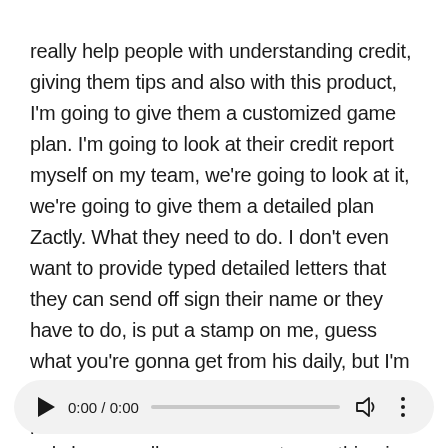really help people with understanding credit, giving them tips and also with this product, I'm going to give them a customized game plan. I'm going to look at their credit report myself on my team, we're going to look at it, we're going to give them a detailed plan Zactly. What they need to do. I don't even want to provide typed detailed letters that they can send off sign their name or they have to do, is put a stamp on me, guess what you're gonna get from his daily, but I'm gonna fix my mom's credit has met his eye passively came over Christmas list, If you only know really says you put everything in your name now, asthma, do. They have anything. My neighbour, my mom, was the queen of by things on credit cards. Hiding them in the car in